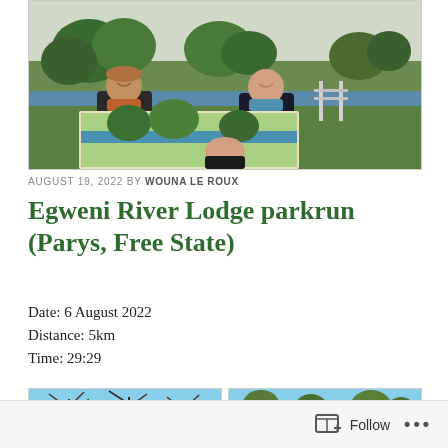[Figure (photo): Two people holding a painted landscape artwork frame outdoors at a parkrun event, standing on grass with trees in the background.]
AUGUST 19, 2022 BY WOUNA LE ROUX
Egweni River Lodge parkrun (Parys, Free State)
Date: 6 August 2022
Distance: 5km
Time: 29:29
[Figure (photo): Outdoor scene with bare trees against a blue sky at parkrun venue.]
[Figure (photo): Outdoor parkrun venue scene with trees and natural landscape.]